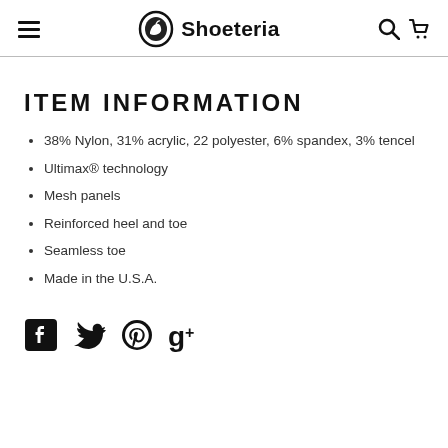Shoeteria
ITEM INFORMATION
38% Nylon, 31% acrylic, 22 polyester, 6% spandex, 3% tencel
Ultimax® technology
Mesh panels
Reinforced heel and toe
Seamless toe
Made in the U.S.A.
[Figure (logo): Social media icons: Facebook, Twitter, Pinterest, Google+]